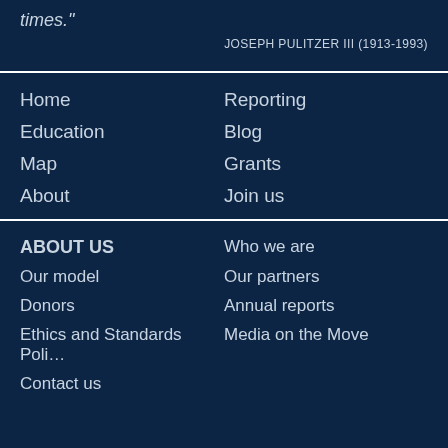times."
JOSEPH PULITZER III (1913-1993)
Home
Reporting
Education
Blog
Map
Grants
About
Join us
ABOUT US
Who we are
Our model
Our partners
Donors
Annual reports
Ethics and Standards Poli…
Media on the Move
Contact us